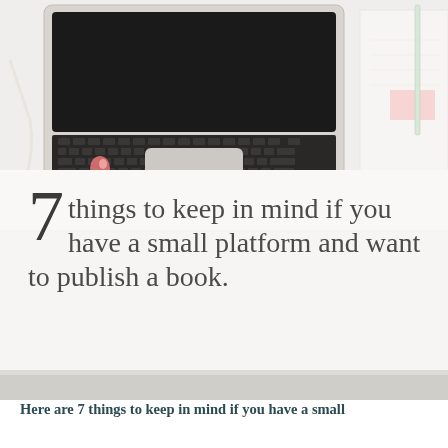[Figure (photo): Overhead view of a MacBook laptop with black keyboard on white desk, pink earbuds on the left, and a notebook/pen on the right side. Photo is in light, clean tones.]
7 things to keep in mind if you have a small platform and want to publish a book.
Here are 7 things to keep in mind if you have a small